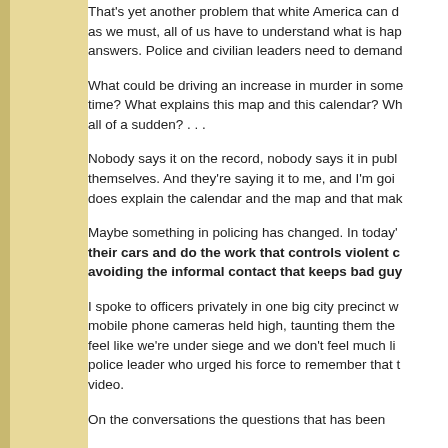That's yet another problem that white America can d as we must, all of us have to understand what is hap answers. Police and civilian leaders need to demand
What could be driving an increase in murder in some time? What explains this map and this calendar? Wh all of a sudden? . . .
Nobody says it on the record, nobody says it in publ themselves. And they're saying it to me, and I'm goi does explain the calendar and the map and that mak
Maybe something in policing has changed. In today's their cars and do the work that controls violent c avoiding the informal contact that keeps bad guy
I spoke to officers privately in one big city precinct w mobile phone cameras held high, taunting them the feel like we're under siege and we don't feel much li police leader who urged his force to remember that t video.
On the conversations the questions that has been...